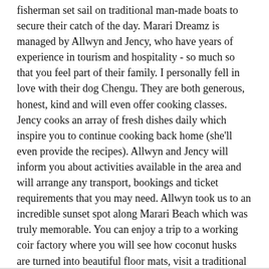fisherman set sail on traditional man-made boats to secure their catch of the day. Marari Dreamz is managed by Allwyn and Jency, who have years of experience in tourism and hospitality - so much so that you feel part of their family. I personally fell in love with their dog Chengu. They are both generous, honest, kind and will even offer cooking classes. Jency cooks an array of fresh dishes daily which inspire you to continue cooking back home (she'll even provide the recipes). Allwyn and Jency will inform you about activities available in the area and will arrange any transport, bookings and ticket requirements that you may need. Allwyn took us to an incredible sunset spot along Marari Beach which was truly memorable. You can enjoy a trip to a working coir factory where you will see how coconut husks are turned into beautiful floor mats, visit a traditional Ayurveda home for an authentic massage using natural organic oils (off the beaten tourist path), take a shopping trip to the hustle and bustle of Alleppey (The Indian Coffee house is worth the visit), or enjoy... More
Date of stay: March 2020
See all 553 reviews